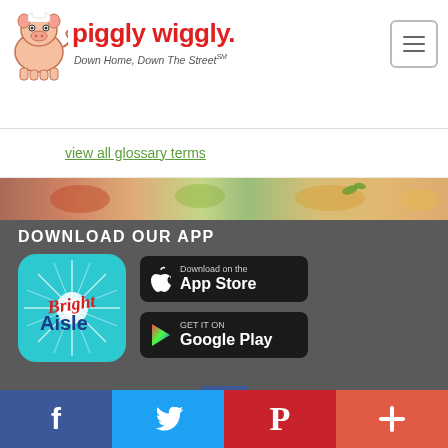[Figure (logo): Piggly Wiggly logo with pig mascot and tagline 'Down Home, Down The Street']
view all glossary terms
[Figure (photo): Food background image with colorful dishes]
DOWNLOAD OUR APP
[Figure (logo): Bright Aisle app icon - teal background with starburst and 'Bright Aisle' text]
[Figure (logo): Download on the App Store button]
[Figure (logo): Get it on Google Play button]
[Figure (logo): Facebook logo icon]
[Figure (infographic): Social media bar with Facebook, Twitter, Pinterest, and plus buttons]